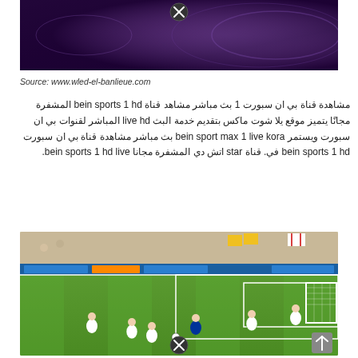[Figure (photo): Purple/dark gradient background image with an X close button at top center]
Source: www.wled-el-banlieue.com
مشاهدة قناة بي ان سبورت 1 بث مباشر مشاهد قناة bein sports 1 hd المشفرة مجانًا يتميز موقع يلا شوت ماكس بتقديم خدمة البث live hd المباشر لقنوات بي ان سبورت ويستمر bein sport max 1 live kora بث مباشر مشاهدة قناة بي ان سبورت bein sports 1 hd في. قناة star اتش دي المشفرة مجانا bein sports 1 hd live.
[Figure (photo): Football match broadcast screenshot showing players on a green pitch near a goal, with stadium crowd and advertising boards visible. An X close button at bottom center.]